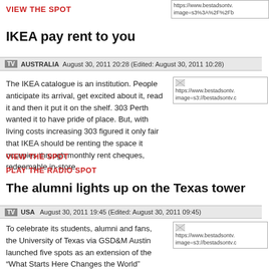VIEW THE SPOT
https://www.bestadsontv... image=s3%3A%2F%2Fb...
IKEA pay rent to you
TV  AUSTRALIA  August 30, 2011 20:28 (Edited: August 30, 2011 10:28)
The IKEA catalogue is an institution. People anticipate its arrival, get excited about it, read it and then it put it on the shelf. 303 Perth wanted it to have pride of place. But, with living costs increasing 303 figured it only fair that IKEA should be renting the space it occupies through monthly rent cheques, redeemable in-store.
[Figure (photo): Broken image placeholder with URL: https://www.bestadsontv. image=s3://bestadsontv.c]
VIEW THE SPOT
PLAY THE RADIO SPOT
The alumni lights up on the Texas tower
TV  USA  August 30, 2011 19:45 (Edited: August 30, 2011 09:45)
To celebrate its students, alumni and fans, the University of Texas via GSD&M Austin launched five spots as an extension of the "What Starts Here Changes the World" campaign with the launch of the new Longhorn Network on August 26.
[Figure (photo): Broken image placeholder with URL: https://www.bestadsontv. image=s3://bestadsontv.c]
VIEW THE SPOT
How many jelly beans fit in a fridge?